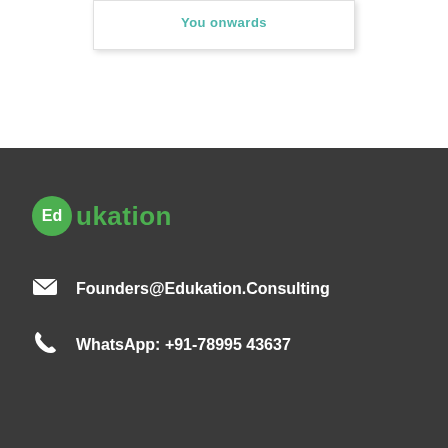[Figure (other): Partial card or UI element with teal/green text visible at top of page, showing truncated text on a white card with shadow]
[Figure (logo): Edukation logo: green circle with white 'Ed' text followed by 'ukation' in green on dark background]
Founders@Edukation.Consulting
WhatsApp: +91-78995 43637